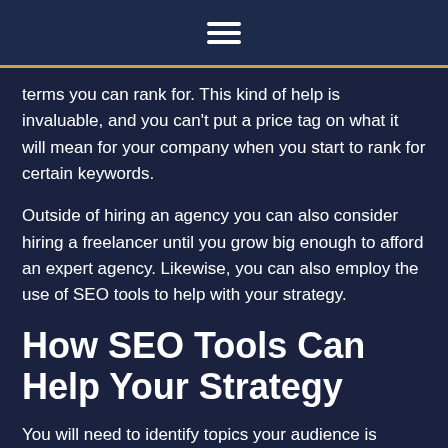≡
terms you can rank for. This kind of help is invaluable, and you can't put a price tag on what it will mean for your company when you start to rank for certain keywords.
Outside of hiring an agency you can also consider hiring a freelancer until you grow big enough to afford an expert agency. Likewise, you can also employ the use of SEO tools to help with your strategy.
How SEO Tools Can Help Your Strategy
You will need to identify topics your audience is interested in. And then you'll need to drill down to